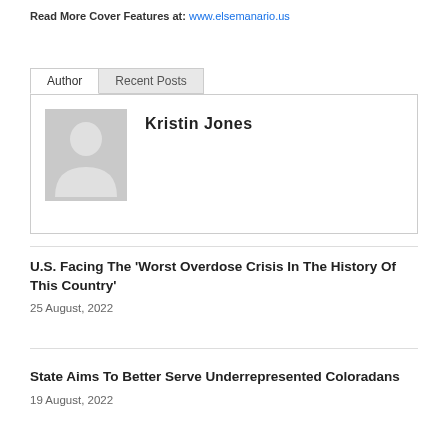Read More Cover Features at: www.elsemanario.us
Author | Recent Posts
[Figure (illustration): Default avatar image showing a gray silhouette of a person (head and shoulders) on a gray background]
Kristin Jones
U.S. Facing The ‘Worst Overdose Crisis In The History Of This Country’
25 August, 2022
State Aims To Better Serve Underrepresented Coloradans
19 August, 2022